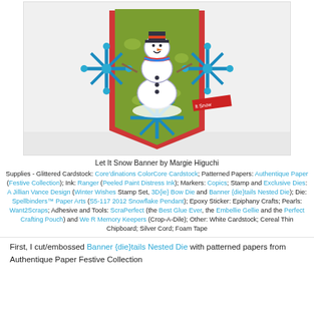[Figure (photo): A handmade craft banner 'Let It Snow' featuring a snowman die-cut on patterned green paper with blue glitter snowflake embellishments and a red chevron bottom, photographed against a white background.]
Let It Snow Banner by Margie Higuchi
Supplies - Glittered Cardstock: Core'dinations ColorCore Cardstock; Patterned Papers: Authentique Paper (Festive Collection); Ink: Ranger (Peeled Paint Distress Ink); Markers: Copics; Stamp and Exclusive Dies: A Jillian Vance Design (Winter Wishes Stamp Set, 3D{ie} Bow Die and Banner {die}tails Nested Die); Die: Spellbinders™ Paper Arts (S5-117 2012 Snowflake Pendant); Epoxy Sticker: Epiphany Crafts; Pearls: Want2Scraps; Adhesive and Tools: ScraPerfect (the Best Glue Ever, the Embellie Gellie and the Perfect Crafting Pouch) and We R Memory Keepers (Crop-A-Dile); Other: White Cardstock; Cereal Thin Chipboard; Silver Cord; Foam Tape
First, I cut/embossed Banner {die}tails Nested Die with patterned papers from Authentique Paper Festive Collection